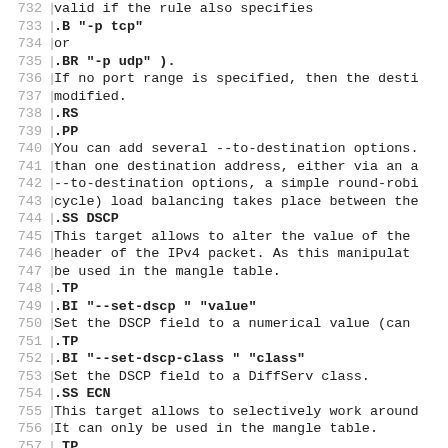Source code / man page content lines 732-762
732 | valid if the rule also specifies
733 | .B "-p tcp"
734 | or
735 | .BR "-p udp" ).
736 | If no port range is specified, then the desti
737 | modified.
738 | .RS
739 | .PP
740 | You can add several --to-destination options.
741 | than one destination address, either via an a
742 | --to-destination options, a simple round-robi
743 | cycle) load balancing takes place between the
744 | .SS DSCP
745 | This target allows to alter the value of the
746 | header of the IPv4 packet.  As this manipulat
747 | be used in the mangle table.
748 | .TP
749 | .BI "--set-dscp " "value"
750 | Set the DSCP field to a numerical value (can
751 | .TP
752 | .BI "--set-dscp-class " "class"
753 | Set the DSCP field to a DiffServ class.
754 | .SS ECN
755 | This target allows to selectively work around
756 | It can only be used in the mangle table.
757 | .TP
758 | .BI "--ecn-tcp-remove"
759 | Remove all ECN bits from the TCP header.  Of
760 | in conjunction with
761 | .BR "-p tcp" .
762 | .SS LOG